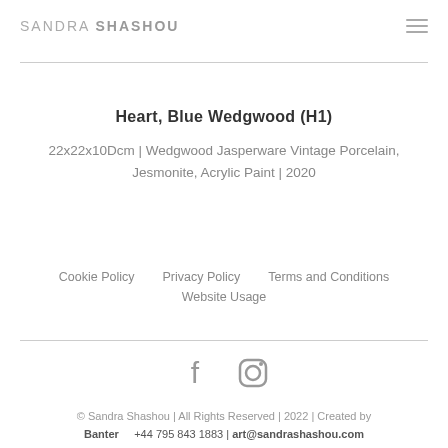SANDRA SHASHOU
Heart, Blue Wedgwood (H1)
22x22x10Dcm | Wedgwood Jasperware Vintage Porcelain, Jesmonite, Acrylic Paint | 2020
Cookie Policy
Privacy Policy
Terms and Conditions
Website Usage
[Figure (other): Social media icons: Facebook and Instagram]
© Sandra Shashou | All Rights Reserved | 2022 | Created by Banter   +44 795 843 1883 | art@sandrashashou.com